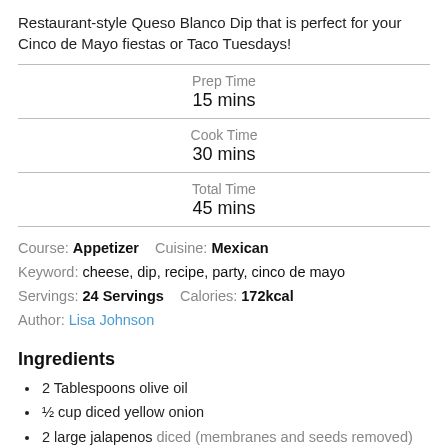Restaurant-style Queso Blanco Dip that is perfect for your Cinco de Mayo fiestas or Taco Tuesdays!
| Prep Time | 15 mins |
| Cook Time | 30 mins |
| Total Time | 45 mins |
Course: Appetizer    Cuisine: Mexican
Keyword: cheese, dip, recipe, party, cinco de mayo
Servings: 24 Servings    Calories: 172kcal
Author: Lisa Johnson
Ingredients
2 Tablespoons olive oil
½ cup diced yellow onion
2 large jalapenos diced (membranes and seeds removed)
3 large cloves garlic minced